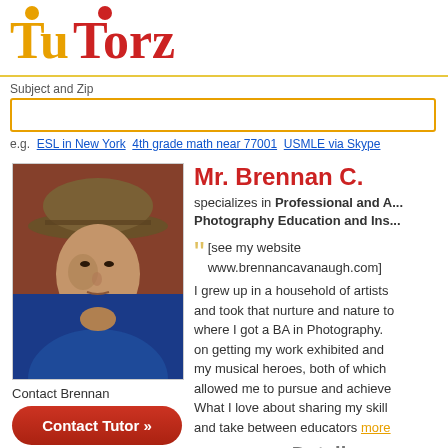[Figure (logo): TuTorz logo with gold T and red text]
Subject and Zip
e.g.  ESL in New York   4th grade math near 77001   USMLE via Skype
[Figure (photo): Photo of Mr. Brennan C., a man wearing a hat and blue shirt]
Contact Brennan
Contact Tutor »
Mr. Brennan C.
specializes in Professional and A... Photography Education and Ins...
"[see my website www.brennancavanaugh.com]
I grew up in a household of artists and took that nurture and nature to where I got a BA in Photography. on getting my work exhibited and my musical heroes, both of which allowed me to pursue and achieve What I love about sharing my skill and take between educators more
Detai...